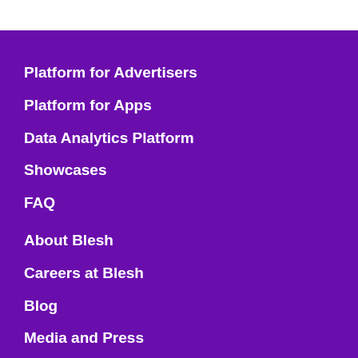Platform for Advertisers
Platform for Apps
Data Analytics Platform
Showcases
FAQ
About Blesh
Careers at Blesh
Blog
Media and Press